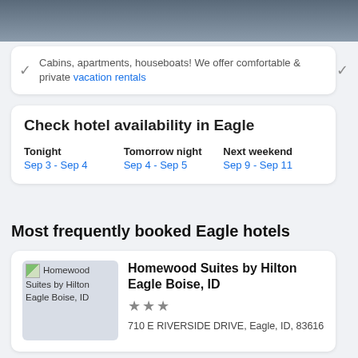[Figure (photo): Top banner image showing hotel/travel related photo with dark overlay]
Cabins, apartments, houseboats! We offer comfortable & private vacation rentals
Check hotel availability in Eagle
Tonight
Sep 3 - Sep 4
Tomorrow night
Sep 4 - Sep 5
Next weekend
Sep 9 - Sep 11
Most frequently booked Eagle hotels
Homewood Suites by Hilton Eagle Boise, ID
★★★
710 E RIVERSIDE DRIVE, Eagle, ID, 83616